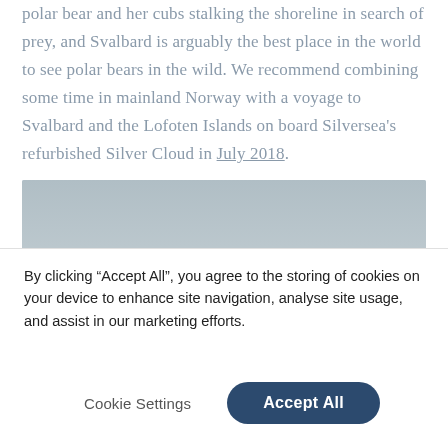polar bear and her cubs stalking the shoreline in search of prey, and Svalbard is arguably the best place in the world to see polar bears in the wild. We recommend combining some time in mainland Norway with a voyage to Svalbard and the Lofoten Islands on board Silversea's refurbished Silver Cloud in July 2018.
[Figure (photo): A wide photograph showing a mostly grey-blue sky with a cruise ship visible in the lower right portion of the image, barely emerging above the horizon line.]
By clicking “Accept All”, you agree to the storing of cookies on your device to enhance site navigation, analyse site usage, and assist in our marketing efforts.